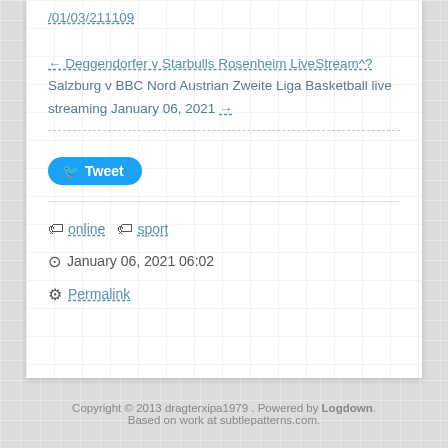/01/03/211109
← Deggendorfer v Starbulls Rosenheim LiveStream^?
Salzburg v BBC Nord Austrian Zweite Liga Basketball live streaming January 06, 2021 →
[Figure (other): Tweet button with Twitter bird icon]
online  sport
January 06, 2021 06:02
Permalink
Copyright © 2013 dragterxipa1979 . Powered by Logdown.
Based on work at subtlepatterns.com.